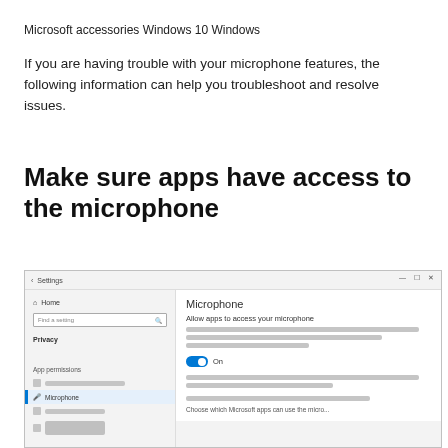Microsoft accessories Windows 10 Windows
If you are having trouble with your microphone features, the following information can help you troubleshoot and resolve issues.
Make sure apps have access to the microphone
[Figure (screenshot): Windows 10 Settings screenshot showing the Microphone privacy settings page. The left sidebar shows Privacy section with App permissions including Microphone selected. The right panel shows 'Microphone' heading, 'Allow apps to access your microphone' text, a blue toggle switch set to On, and additional gray placeholder text lines.]